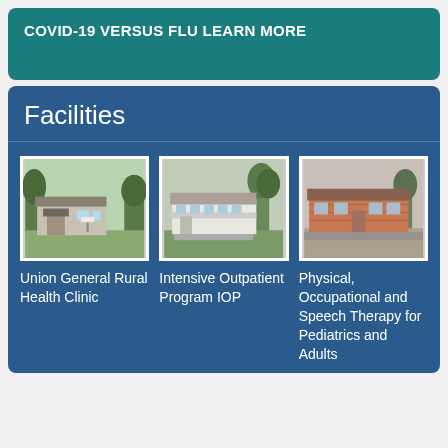COVID-19 VERSUS FLU LEARN MORE
Facilities
[Figure (photo): Photo of Union General Rural Health Clinic building exterior with sign]
Union General Rural Health Clinic
[Figure (photo): Photo of Intensive Outpatient Program IOP building exterior]
Intensive Outpatient Program IOP
[Figure (photo): Photo of Physical, Occupational and Speech Therapy for Pediatrics and Adults building exterior]
Physical, Occupational and Speech Therapy for Pediatrics and Adults